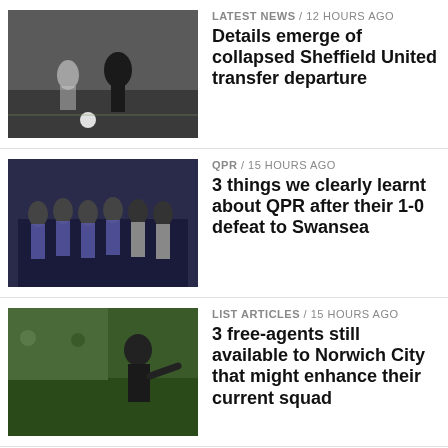LATEST NEWS / 12 hours ago
Details emerge of collapsed Sheffield United transfer departure
[Figure (photo): Football players on a pitch, one in black and white stripes]
QPR / 15 hours ago
3 things we clearly learnt about QPR after their 1-0 defeat to Swansea
[Figure (photo): Football team in blue and white hooped shirts forming a wall]
LIST ARTICLES / 15 hours ago
3 free-agents still available to Norwich City that might enhance their current squad
[Figure (photo): Football manager gesturing on the touchline]
LATEST NEWS / 16 hours ago
Millwall manager Gary Rowett singles out forward for praise after key role in Cardiff win
[Figure (photo): Manager clapping in front of stadium lights]
LATEST NEWS / 16 hours ago
Sheffield Wednesday boss Darren Moore issues harsh verdict on defeat
[Figure (photo): Portrait of a man, Sheffield Wednesday manager]